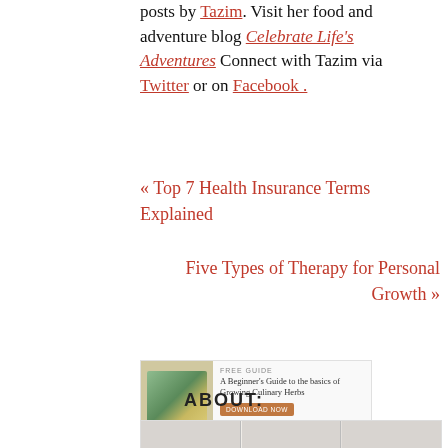posts by Tazim. Visit her food and adventure blog Celebrate Life's Adventures Connect with Tazim via Twitter or on Facebook.
« Top 7 Health Insurance Terms Explained
Five Types of Therapy for Personal Growth »
[Figure (illustration): Promotional box for a free guide: 'A Beginner's Guide to the basics of Growing Culinary Herbs' with a download button and book image]
ABOUT:
[Figure (photo): Bottom strip showing tiled/mosaic images, partially visible]